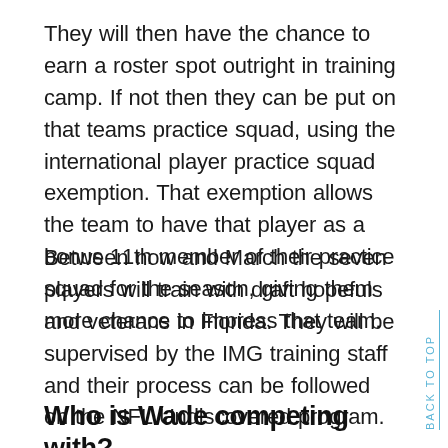They will then have the chance to earn a roster spot outright in training camp. If not then they can be put on that teams practice squad, using the international player practice squad exemption. That exemption allows the team to have that player as a bonus 11th member of their practice squad for the season, giving them more chance to impress that team.
Between now and March the seven players will train with draft hopefuls and veterans in Florida. They will be supervised by the IMG training staff and their process can be followed on the NFL Undiscovered program.
Who is Wade competing with?